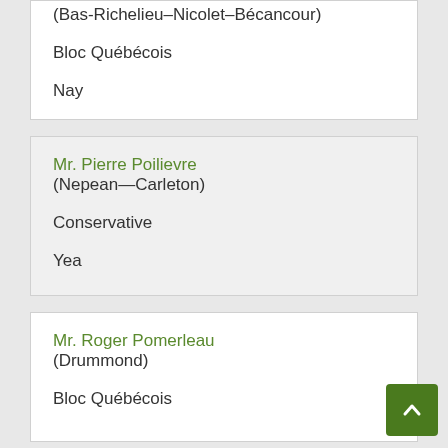(Bas-Richelieu–Nicolet–Bécancour)
Bloc Québécois
Nay
Mr. Pierre Poilievre
(Nepean–Carleton)
Conservative
Yea
Mr. Roger Pomerleau
(Drummond)
Bloc Québécois